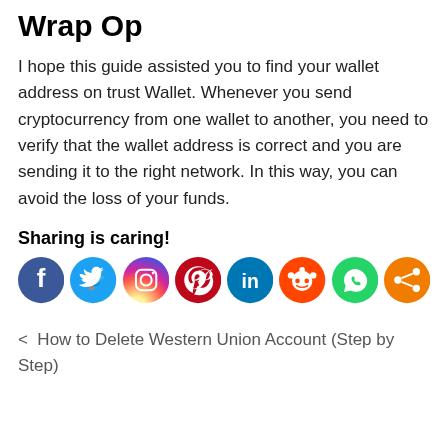Wrap Op
I hope this guide assisted you to find your wallet address on trust Wallet. Whenever you send cryptocurrency from one wallet to another, you need to verify that the wallet address is correct and you are sending it to the right network. In this way, you can avoid the loss of your funds.
Sharing is caring!
[Figure (infographic): Row of 8 social media sharing icon circles: Facebook (dark blue), Twitter (light blue), Instagram (gradient), Pinterest (red), LinkedIn (blue), Reddit (orange-red), WhatsApp (green), Share (orange)]
< How to Delete Western Union Account (Step by Step)